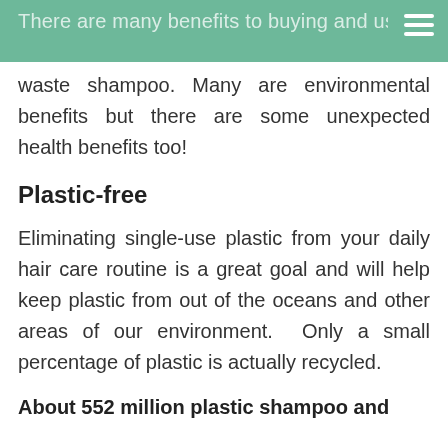There are many benefits to buying and using zero waste shampoo. Many are environmental benefits but there are some unexpected health benefits too!
waste shampoo. Many are environmental benefits but there are some unexpected health benefits too!
Plastic-free
Eliminating single-use plastic from your daily hair care routine is a great goal and will help keep plastic from out of the oceans and other areas of our environment.  Only a small percentage of plastic is actually recycled.
About 552 million plastic shampoo and